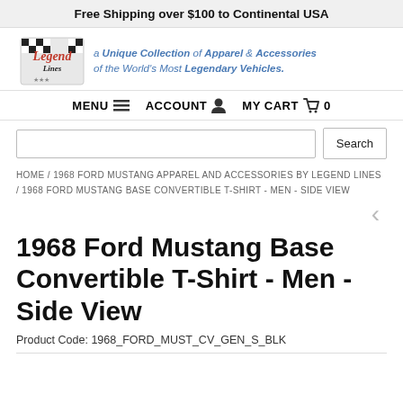Free Shipping over $100 to Continental USA
[Figure (logo): Legend Lines logo with checkered flag design and red script text]
a Unique Collection of Apparel & Accessories of the World's Most Legendary Vehicles.
MENU  ACCOUNT  MY CART  0
Search
HOME / 1968 FORD MUSTANG APPAREL AND ACCESSORIES BY LEGEND LINES / 1968 FORD MUSTANG BASE CONVERTIBLE T-SHIRT - MEN - SIDE VIEW
1968 Ford Mustang Base Convertible T-Shirt - Men - Side View
Product Code: 1968_FORD_MUST_CV_GEN_S_BLK